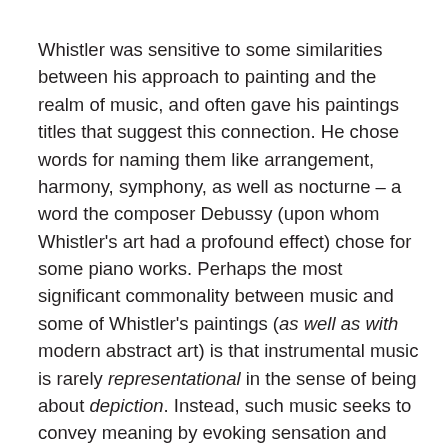Whistler was sensitive to some similarities between his approach to painting and the realm of music, and often gave his paintings titles that suggest this connection. He chose words for naming them like arrangement, harmony, symphony, as well as nocturne – a word the composer Debussy (upon whom Whistler's art had a profound effect) chose for some piano works. Perhaps the most significant commonality between music and some of Whistler's paintings (as well as with modern abstract art) is that instrumental music is rarely representational in the sense of being about depiction. Instead, such music seeks to convey meaning by evoking sensation and emotion within the listener. For example, Ferde Grofé's orchestral Grand Canyon Suite is less an effort to describe or portray that magnificent geological locale than it is a means by which